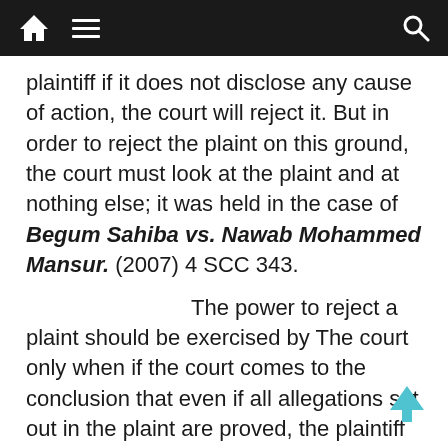[navigation bar with home, menu, and search icons]
plaintiff if it does not disclose any cause of action, the court will reject it. But in order to reject the plaint on this ground, the court must look at the plaint and at nothing else; it was held in the case of Begum Sahiba vs. Nawab Mohammed Mansur. (2007) 4 SCC 343.
The power to reject a plaint should be exercised by The court only when if the court comes to the conclusion that even if all allegations set out in the plaint are proved, the plaintiff would not be entitled to any relief, in that case, the court will reject the plaint without issuing